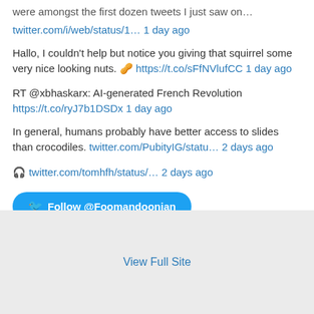were amongst the first dozen tweets I just saw on…
twitter.com/i/web/status/1… 1 day ago
Hallo, I couldn't help but notice you giving that squirrel some very nice looking nuts. 🥜 https://t.co/sFfNVlufCC 1 day ago
RT @xbhaskarx: AI-generated French Revolution https://t.co/ryJ7b1DSDx 1 day ago
In general, humans probably have better access to slides than crocodiles. twitter.com/PubityIG/statu… 2 days ago
🎧 twitter.com/tomhfh/status/… 2 days ago
Follow @Foomandoonian
View Full Site